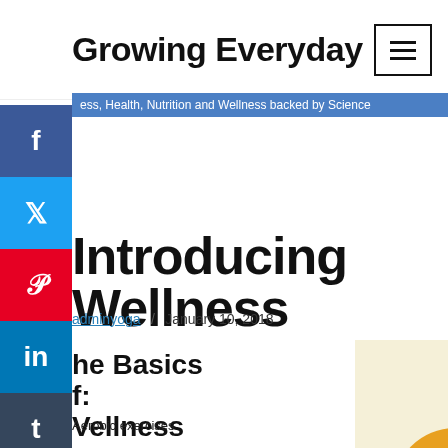Growing Everyday
ess, Health, Nutrition and Wellness backed by Science
Introducing Wellness
adminyoga  /  January 10, 2018
he Basics
f:
Vellness
Aerobic exercises
[Figure (infographic): Eight Dimensions of Wellness infographic showing colored circles labeled: Emotional (dark red), Social (yellow-orange), Spiritual (dark red-pink), Occupational (dark gray), Intellectual (magenta), and center text 'Eight Dimensions of Wellness']